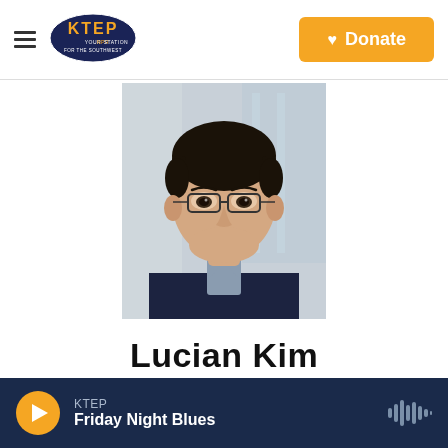KTEP — Donate
[Figure (photo): Professional headshot of Lucian Kim, a man with glasses wearing a dark blazer and light blue shirt, photographed against a blurred indoor background.]
Lucian Kim
KTEP — Friday Night Blues